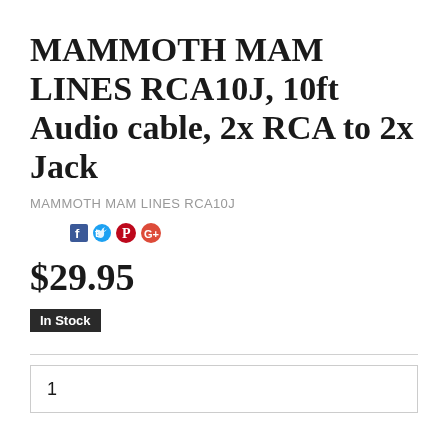MAMMOTH MAM LINES RCA10J, 10ft Audio cable, 2x RCA to 2x Jack
MAMMOTH MAM LINES RCA10J
[Figure (other): Social sharing icons: Facebook, Twitter, Pinterest, Google+]
$29.95
In Stock
1